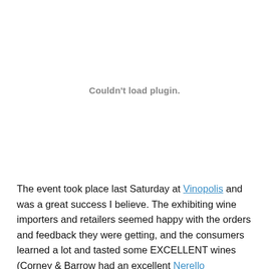[Figure (other): Plugin placeholder area showing 'Couldn't load plugin.' message in gray text]
The event took place last Saturday at Vinopolis and was a great success I believe. The exhibiting wine importers and retailers seemed happy with the orders and feedback they were getting, and the consumers learned a lot and tasted some EXCELLENT wines (Corney & Barrow had an excellent Nerello Mascalese called Passopisciaro – thx for the tip goes